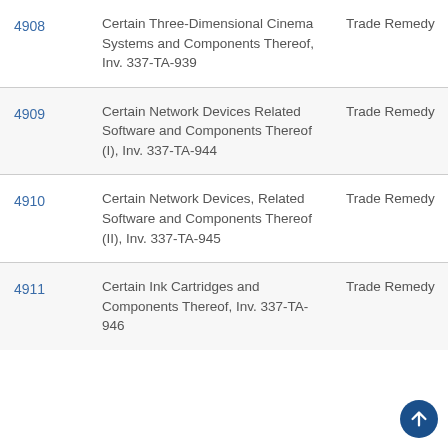|  | Case Name | Type |
| --- | --- | --- |
| 4908 | Certain Three-Dimensional Cinema Systems and Components Thereof, Inv. 337-TA-939 | Trade Remedy |
| 4909 | Certain Network Devices Related Software and Components Thereof (I), Inv. 337-TA-944 | Trade Remedy |
| 4910 | Certain Network Devices, Related Software and Components Thereof (II), Inv. 337-TA-945 | Trade Remedy |
| 4911 | Certain Ink Cartridges and Components Thereof, Inv. 337-TA-946 | Trade Remedy |